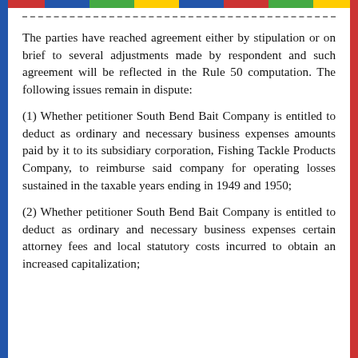The parties have reached agreement either by stipulation or on brief to several adjustments made by respondent and such agreement will be reflected in the Rule 50 computation. The following issues remain in dispute:
(1) Whether petitioner South Bend Bait Company is entitled to deduct as ordinary and necessary business expenses amounts paid by it to its subsidiary corporation, Fishing Tackle Products Company, to reimburse said company for operating losses sustained in the taxable years ending in 1949 and 1950;
(2) Whether petitioner South Bend Bait Company is entitled to deduct as ordinary and necessary business expenses certain attorney fees and local statutory costs incurred to obtain an increased capitalization;